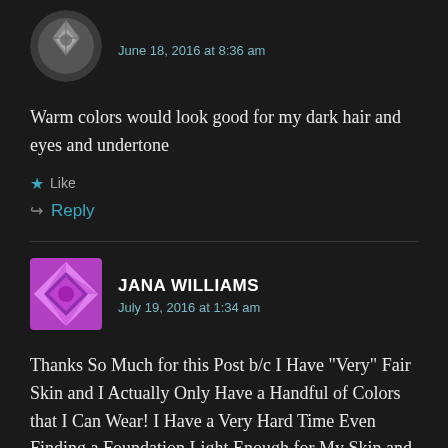[Figure (illustration): Circular avatar with grey geometric/floral pattern on dark background]
June 18, 2016 at 8:36 am
Warm colors would look good for my dark hair and eyes and undertone
Like
Reply
[Figure (illustration): Square avatar with purple/pink geometric/quilt pattern]
JANA WILLIAMS
July 19, 2016 at 1:34 am
Thanks So Much for this Post b/c I Have “Very” Fair Skin and I Actually Only Have a Handful of Colors that I Can Wear! I Have a Very Hard Time Even Finding a Foundation Light Enough for My Skin and I Love When I Can Actually Find Something Looks Good on Me as Far as Makeup & Clothing are Concerned! My